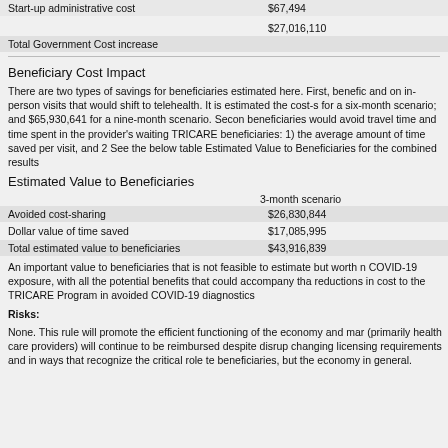|  |  |
| --- | --- |
| Start-up administrative cost | $67,494 |
| Total Government Cost increase | $27,016,110 |
Beneficiary Cost Impact
There are two types of savings for beneficiaries estimated here. First, beneficiaries would save on cost-sharing on in-person visits that would shift to telehealth. It is estimated the cost-sharing savings are for a six-month scenario; and $65,930,641 for a nine-month scenario. Second, beneficiaries would avoid travel time and time spent in the provider's waiting room. TRICARE beneficiaries: 1) the average amount of time saved per visit, and 2) See the below table Estimated Value to Beneficiaries for the combined results.
Estimated Value to Beneficiaries
|  | 3-month scenario |
| --- | --- |
| Avoided cost-sharing | $26,830,844 |
| Dollar value of time saved | $17,085,995 |
| Total estimated value to beneficiaries | $43,916,839 |
An important value to beneficiaries that is not feasible to estimate but worth noting is the reduction in COVID-19 exposure, with all the potential benefits that could accompany that, and the corresponding reductions in cost to the TRICARE Program in avoided COVID-19 diagnostics.
Risks:
None. This rule will promote the efficient functioning of the economy and markets. Businesses (primarily health care providers) will continue to be reimbursed despite disruptions caused by changing licensing requirements and in ways that recognize the critical role telehealth plays for beneficiaries, but the economy in general.